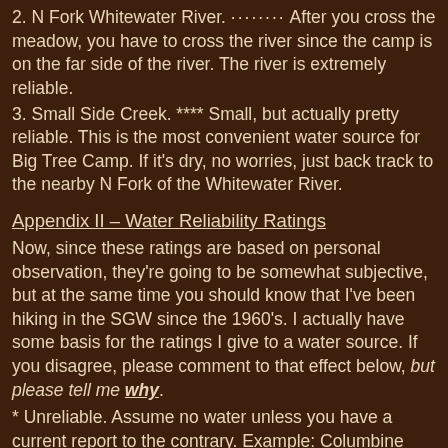2.  N Fork Whitewater River.  ········  After you cross the meadow, you have to cross the river since the camp is on the far side of the river.  The river is extremely reliable.
3.  Small Side Creek.    ****  Small, but actually pretty reliable.  This is the most convenient water source for Big Tree Camp.  If it's dry, no worries, just back track to the nearby N Fork of the Whitewater River.
Appendix II – Water Reliability Ratings
Now, since these ratings are based on personal observation, they're going to be somewhat subjective, but at the same time you should know that I've been hiking in the SGW since the 1960's.  I actually have some basis for the ratings I give to a water source.  If you disagree, please comment to that effect below, but please tell me why.
* Unreliable.  Assume no water unless you have a current report to the contrary.  Example:  Columbine Spring.
** Less reliable.  Water typically in early season.  Often dry in late season.  Example:  the spring above Fish Creek Camp.
*** More reliable.  Water typically in late season in normal years.  May be dry in late season in dry years.  Example: